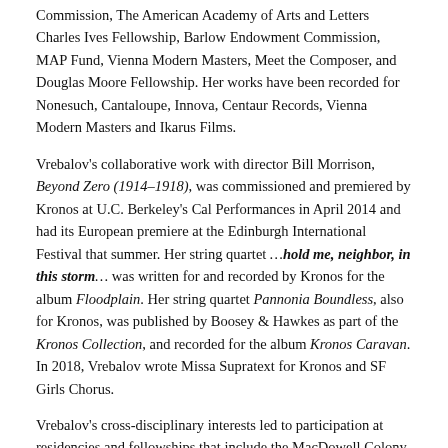Commission, The American Academy of Arts and Letters Charles Ives Fellowship, Barlow Endowment Commission, MAP Fund, Vienna Modern Masters, Meet the Composer, and Douglas Moore Fellowship. Her works have been recorded for Nonesuch, Cantaloupe, Innova, Centaur Records, Vienna Modern Masters and Ikarus Films.
Vrebalov's collaborative work with director Bill Morrison, Beyond Zero (1914–1918), was commissioned and premiered by Kronos at U.C. Berkeley's Cal Performances in April 2014 and had its European premiere at the Edinburgh International Festival that summer. Her string quartet …hold me, neighbor, in this storm… was written for and recorded by Kronos for the album Floodplain. Her string quartet Pannonia Boundless, also for Kronos, was published by Boosey & Hawkes as part of the Kronos Collection, and recorded for the album Kronos Caravan. In 2018, Vrebalov wrote Missa Supratext for Kronos and SF Girls Chorus.
Vrebalov's cross-disciplinary interests led to participation at residencies and fellowships that include the MacDowell Colony, Djerassi, The Hermitage, New York's New Dramatists, Rockefeller Bellagio Center, American Opera Projects, Other Minds Festival, and Tanglewood. Between 2007 and 2011, Vrebalov created and led Summer in Sombor (Serbia), a weeklong composition workshop with the South Oxford Six composers' collective that she co-founded in 2002 in NYC. The workshop facilitated the creation of over fifty new works by young composers from Europe and the USA. Most recently, Vrebalov joined Muzikhane